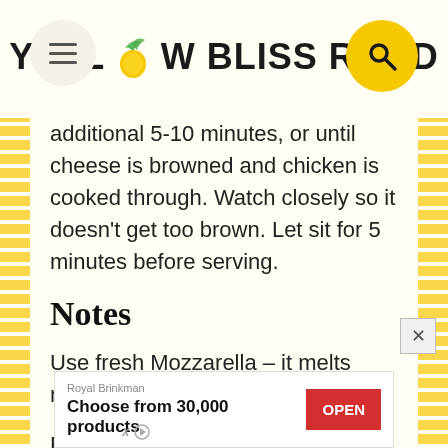YELLOW BLISS ROAD
additional 5-10 minutes, or until cheese is browned and chicken is cooked through. Watch closely so it doesn't get too brown. Let sit for 5 minutes before serving.
Notes
Use fresh Mozzarella – it melts much better than pre-shredded.
Feel free to leave out the spinach if you're not a fan.
[Figure (other): Advertisement banner for Royal Brinkman with 'Choose from 30,000 products' and red OPEN button]